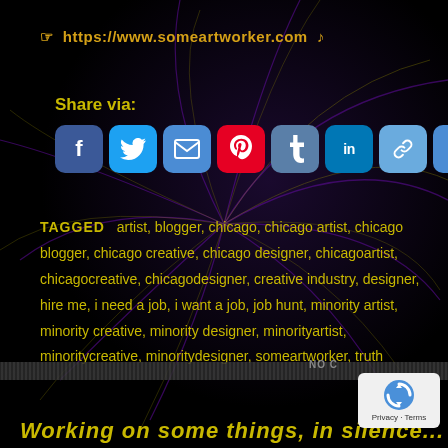👉 https://www.someartworker.com 🎵
Share via:
[Figure (infographic): Row of social share buttons: Facebook (blue f), Twitter (blue bird), Email (blue envelope), Pinterest (red P), Tumblr (blue t), LinkedIn (blue in), Copy Link (blue chain), More (blue +)]
TAGGED  artist, blogger, chicago, chicago artist, chicago blogger, chicago creative, chicago designer, chicagoartist, chicagocreative, chicagodesigner, creative industry, designer, hire me, i need a job, i want a job, job hunt, minority artist, minority creative, minority designer, minorityartist, minoritycreative, minoritydesigner, someartworker, truth
NO C
Working on some things, in silence...